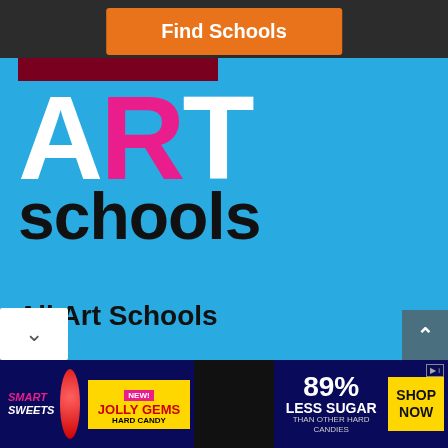[Figure (logo): Find Schools orange button at top over dark background]
[Figure (logo): All Art Schools logo with large ART text (R in pink) and 'schools' in black on blue background]
All Art Schools
About Us
Terms of Use
Privacy Policy
Important Information for Students
[Figure (photo): Smart Sweets Jolly Gems Hard Candy advertisement banner at bottom — 89% Less Sugar than other hard candies, Shop Now button]